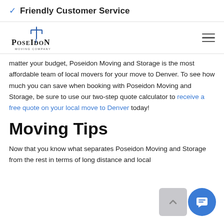✓ Friendly Customer Service
[Figure (logo): Poseidon Moving Company logo with trident symbol]
matter your budget, Poseidon Moving and Storage is the most affordable team of local movers for your move to Denver. To see how much you can save when booking with Poseidon Moving and Storage, be sure to use our two-step quote calculator to receive a free quote on your local move to Denver today!
Moving Tips
Now that you know what separates Poseidon Moving and Storage from the rest in terms of long distance and local